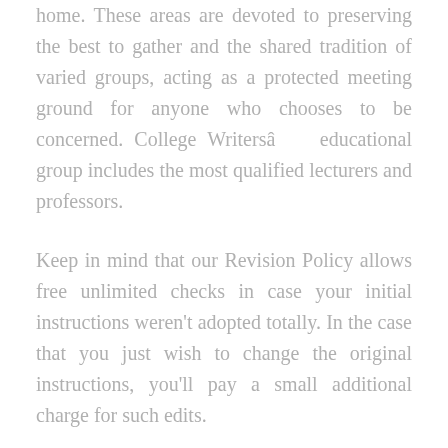home. These areas are devoted to preserving the best to gather and the shared tradition of varied groups, acting as a protected meeting ground for anyone who chooses to be concerned. College Writersâ educational group includes the most qualified lecturers and professors.
Keep in mind that our Revision Policy allows free unlimited checks in case your initial instructions weren't adopted totally. In the case that you just wish to change the original instructions, you'll pay a small additional charge for such edits.